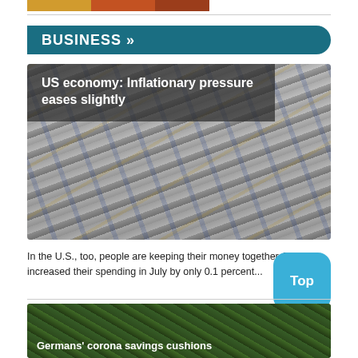[Figure (photo): Partial colored image strip at the top of the page]
BUSINESS »
[Figure (photo): US dollar bills close-up photo with article title overlay: 'US economy: Inflationary pressure eases slightly']
US economy: Inflationary pressure eases slightly
In the U.S., too, people are keeping their money together. They increased their spending in July by only 0.1 percent...
[Figure (other): Top button - teal rounded square button with 'Top' label]
[Figure (photo): Bottom article image with green background and title 'Germans' corona savings cushions']